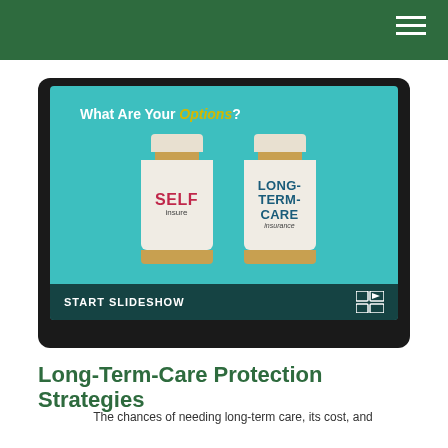[Figure (screenshot): Tablet showing a teal-background slideshow screen with text 'What Are Your Options?' and two pill bottles labeled 'SELF insure' and 'LONG-TERM-CARE insurance', with a 'START SLIDESHOW' bar at the bottom.]
Long-Term-Care Protection Strategies
The chances of needing long-term care, its cost, and